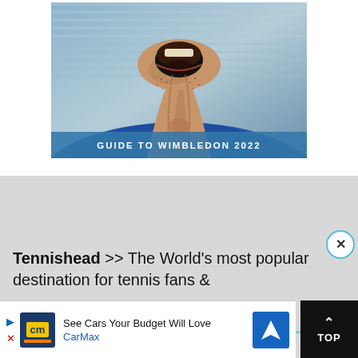[Figure (photo): Close-up photo of a tennis player shouting with head tilted back, neck visible, wearing blue, with a blue striped background. Overlay banner reads GUIDE TO WIMBLEDON 2022.]
GUIDE TO WIMBLEDON 2022
Tennishead >> The World's most popular destination for tennis fans & …want breaking…
[Figure (screenshot): Advertisement banner: See Cars Your Budget Will Love - CarMax, with CarMax logo (cm) and blue direction sign icon.]